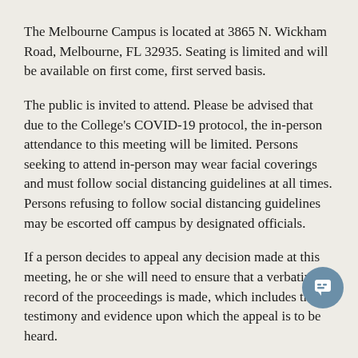The Melbourne Campus is located at 3865 N. Wickham Road, Melbourne, FL 32935. Seating is limited and will be available on first come, first served basis.
The public is invited to attend. Please be advised that due to the College's COVID-19 protocol, the in-person attendance to this meeting will be limited. Persons seeking to attend in-person may wear facial coverings and must follow social distancing guidelines at all times. Persons refusing to follow social distancing guidelines may be escorted off campus by designated officials.
If a person decides to appeal any decision made at this meeting, he or she will need to ensure that a verbatim record of the proceedings is made, which includes the testimony and evidence upon which the appeal is to be heard.
Individuals with disabilities as defined under the Americans with Disabilities Act who wish to attend the meeting and need special accommodations can request them by calling 321-433-7380 or through the Florida Relay System (1-800-955-8771) not later than 7 days prior to the meeting on this Notice.